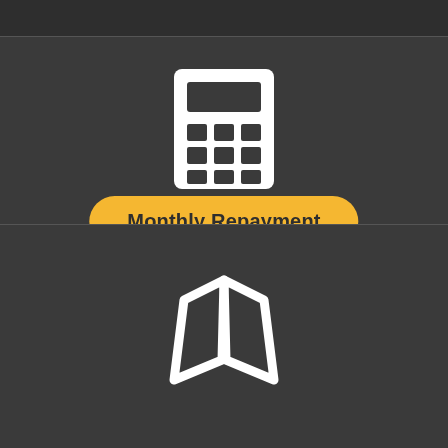[Figure (illustration): White calculator icon on dark background]
Monthly Repayment
[Figure (illustration): White open book / map icon on dark background]